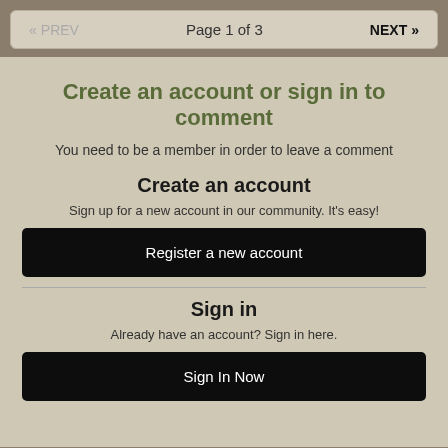« PREV   Page 1 of 3   NEXT »
Create an account or sign in to comment
You need to be a member in order to leave a comment
Create an account
Sign up for a new account in our community. It's easy!
Register a new account
Sign in
Already have an account? Sign in here.
Sign In Now